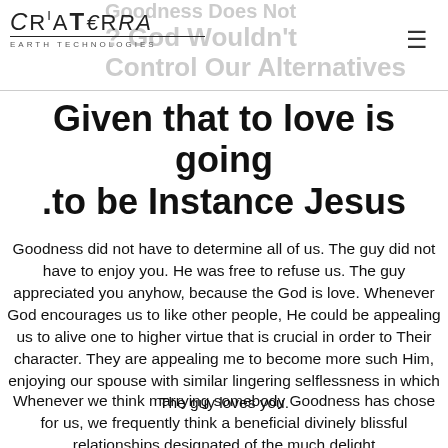CriaTerra Earth Technologies
Given that to love is going .to be Instance Jesus
Goodness did not have to determine all of us. The guy did not have to enjoy you. He was free to refuse us. The guy appreciated you anyhow, because the God is love. Whenever God encourages us to like other people, He could be appealing us to alive one to higher virtue that is crucial in order to Their character. They are appealing me to become more such Him, enjoying our spouse with similar lingering selflessness in which The guy loves you.
Whenever we think marrying somebody Goodness has chose for us, we frequently think a beneficial divinely blissful relationships designated of the much delight